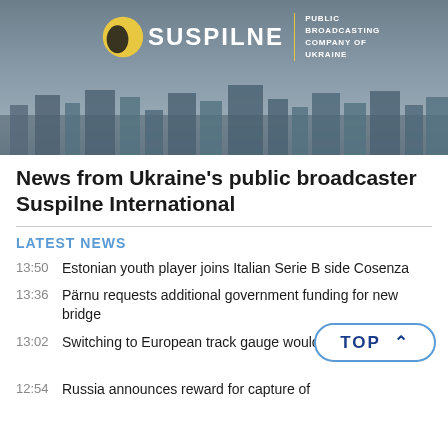[Figure (photo): Suspilne Public Broadcasting Company of Ukraine logo and banner over a grey city skyline background]
News from Ukraine's public broadcaster Suspilne International
LATEST NEWS
13:50   Estonian youth player joins Italian Serie B side Cosenza
13:36   Pärnu requests additional government funding for new bridge
13:02   Switching to European track gauge would cost €8.7 billion
12:54   Russia announces reward for capture of